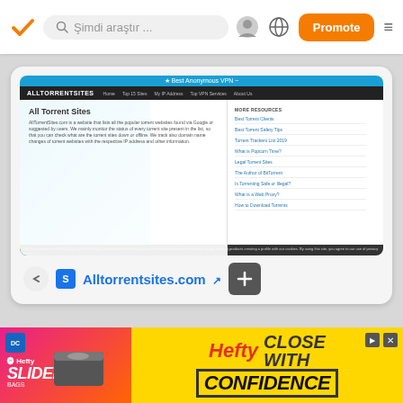[Figure (screenshot): Mobile app top navigation bar with orange checkmark logo, search box with 'Şimdi araştır ...' placeholder, avatar icon, globe icon, orange 'Promote' button, and hamburger menu icon]
[Figure (screenshot): Website card showing alltorrentsites.com screenshot with blue header, dark nav bar with ALLTORRENTSITES logo, content area showing 'All Torrent Sites' heading with body text and 'MORE RESOURCES' sidebar links including Best Torrent Clients, Best Torrent Safety Tips, Torrent Trackers List 2019, What is Popcorn Time?, Legal Torrent Sites, The Author of BitTorrent, Is Torrenting Safe or Illegal?, What is a Web Proxy?, How to Download Torrents]
Alltorrentsites.com
[Figure (screenshot): Hefty Slider Bags advertisement banner with pink-to-yellow gradient background, Hefty brand name in red italic, 'CLOSE WITH CONFIDENCE' text in black bold italic]